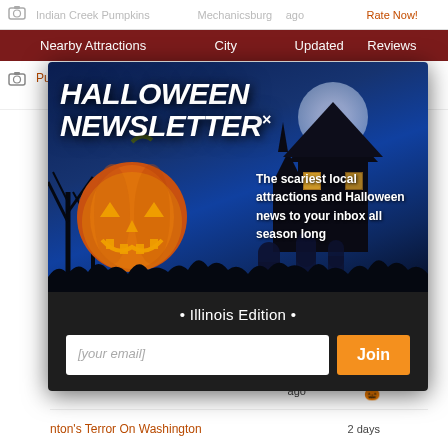| Nearby Attractions | City | Updated | Reviews |
| --- | --- | --- | --- |
| Pumpkin Creek Farms | Sherman | 15 days ago | Rate Now! |
| Indian Creek Farmstead & Pumpkin Patch | Petersburg | 15 days ago | Rate Now! |
| Terror on the Square | Petersburg | 15 days ago | 🎃🎃🎃🎃🎃 |
| Clinton's Terror On Washington |  | 2 days |  |
[Figure (screenshot): Halloween Newsletter popup modal with haunted scene, jack-o-lantern, spooky graveyard background. Title reads 'HALLOWEEN NEWSLETTER x'. Text: 'The scariest local attractions and Halloween news to your inbox all season long'. Subtitle: '• Illinois Edition •'. Email input field with 'Join' button.]